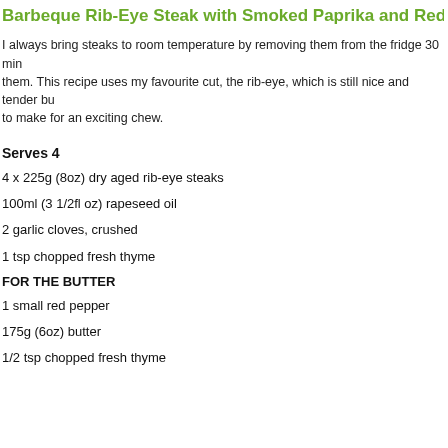Barbeque Rib-Eye Steak with Smoked Paprika and Red...
I always bring steaks to room temperature by removing them from the fridge 30 min them. This recipe uses my favourite cut, the rib-eye, which is still nice and tender bu to make for an exciting chew.
Serves 4
4 x 225g (8oz) dry aged rib-eye steaks
100ml (3 1/2fl oz) rapeseed oil
2 garlic cloves, crushed
1 tsp chopped fresh thyme
FOR THE BUTTER
1 small red pepper
175g (6oz) butter
1/2 tsp chopped fresh thyme